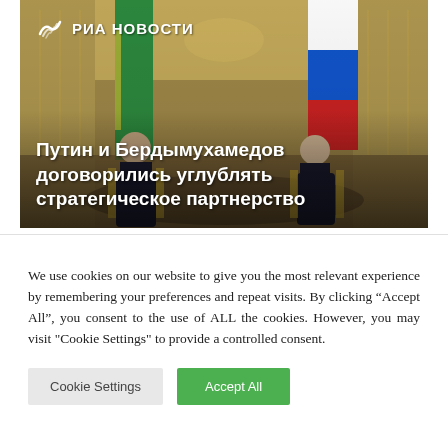[Figure (photo): RIA Novosti news photo showing Putin and Berdymukhamedov seated facing each other in an ornate golden hall, with green Turkmenistan flag and Russian tricolor flag visible in background. White RIA Novosti logo in top left corner. Headline text overlaid at bottom of image in white bold Cyrillic text.]
We use cookies on our website to give you the most relevant experience by remembering your preferences and repeat visits. By clicking “Accept All”, you consent to the use of ALL the cookies. However, you may visit "Cookie Settings" to provide a controlled consent.